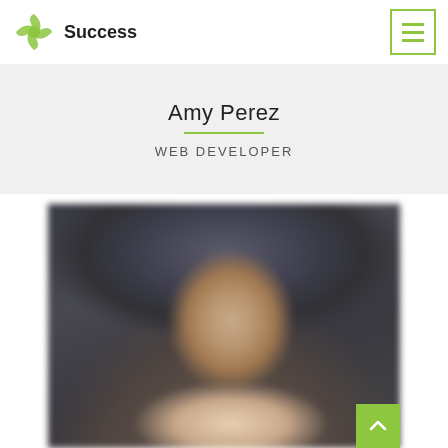Success
Amy Perez
WEB DEVELOPER
[Figure (photo): Blurred portrait photo of a person (Amy Perez) smiling, with dark blurred background]